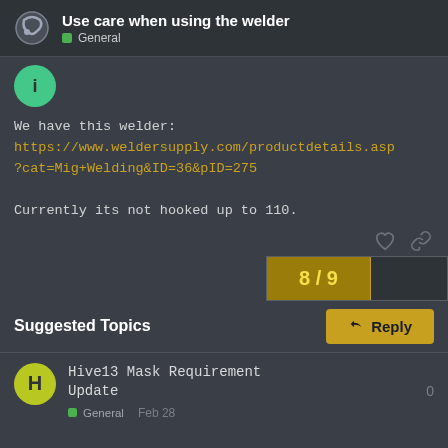Use care when using the welder — General
We have this welder:
https://www.weldersupply.com/productdetails.asp?cat=Mig+Welding&ID=36&pID=275

Currently its not hooked up to 110.
Suggested Topics
Hive13 Mask Requirement Update
General  Feb 28